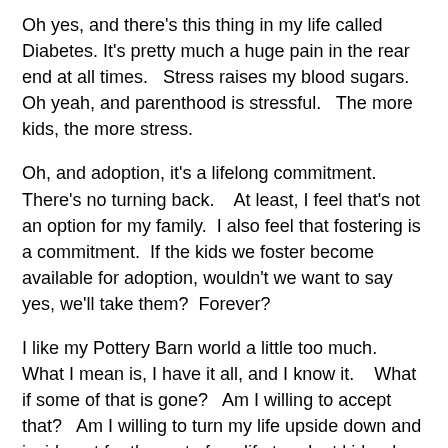Oh yes, and there's this thing in my life called Diabetes.  It's pretty much a huge pain in the rear end at all times.   Stress raises my blood sugars.   Oh yeah, and parenthood is stressful.   The more kids, the more stress.
Oh, and adoption, it's a lifelong commitment.   There's no turning back.    At least, I feel that's not an option for my family.  I also feel that fostering is a commitment.  If the kids we foster become available for adoption, wouldn't we want to say yes, we'll take them?  Forever?
I like my Pottery Barn world a little too much.    What I mean is, I have it all, and I know it.    What if some of that is gone?   Am I willing to accept that?   Am I willing to turn my life upside down and inside out for the rest of my life to adopt kids who truly need a forever home?   GULP.
Steve and I are in the process of buying a new home.  It's big.  It's beautiful.   And there is the potential for, get this, 6 bedrooms on the top floor. Six.  A lot of kids could fit into our new home.    The house sits on a large lot.   There's plenty